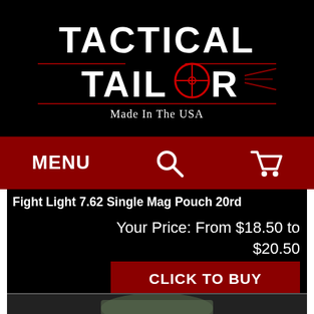[Figure (logo): Tactical Tailor logo — white bold distressed text on black background, with red crosshair on the 'O', and subtitle 'Made In The USA']
MENU
Fight Light 7.62 Single Mag Pouch 20rd
Your Price: From $18.50 to $20.50
CLICK TO BUY
[Figure (photo): Partial product thumbnail photo at the bottom edge of the page]